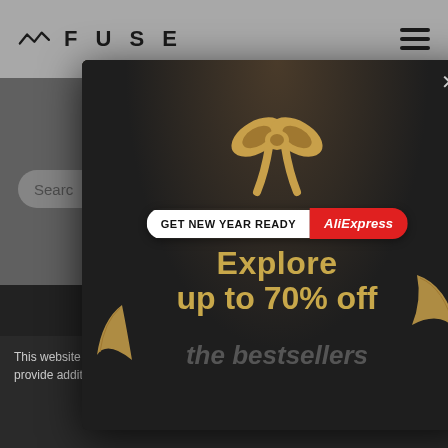[Figure (screenshot): Fuse website header with logo on left showing squiggly wave icon and text 'FUSE', hamburger menu icon on right, on grey background]
[Figure (screenshot): AliExpress popup modal on dark background showing gift bow graphic, pill button 'GET NEW YEAR READY | AliExpress', large gold text 'Explore up to 70% off the bestsellers', with close X button and decorative gold ribbon confetti]
This website makes use of cookies to enhance browsing experience and provide additional functionality. Details
Allow cookies